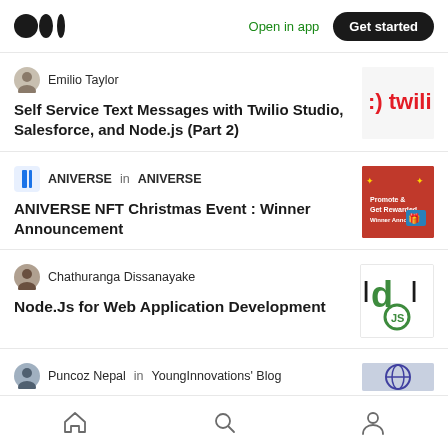Medium logo | Open in app | Get started
Emilio Taylor
Self Service Text Messages with Twilio Studio, Salesforce, and Node.js (Part 2)
ANIVERSE in ANIVERSE
ANIVERSE NFT Christmas Event : Winner Announcement
Chathuranga Dissanayake
Node.Js for Web Application Development
Puncoz Nepal in YoungInnovations' Blog
Home | Search | Profile